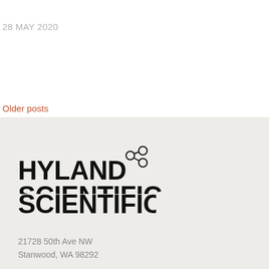28 MAY 2020
Older posts
[Figure (logo): Hyland Scientific logo with company name in bold black text and a molecular/atom icon to the upper right of the text]
21728 50th Ave NW
Stanwood, WA 98292
Phone: 360-540-0555
Fax: 360-652-2929